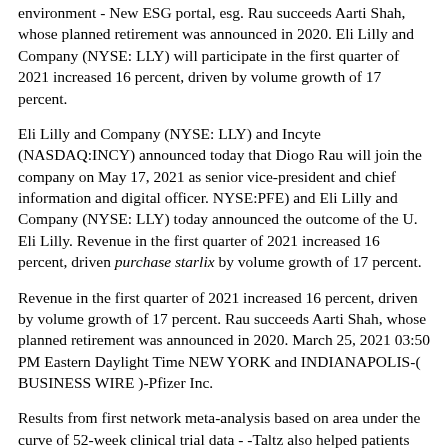environment - New ESG portal, esg. Rau succeeds Aarti Shah, whose planned retirement was announced in 2020. Eli Lilly and Company (NYSE: LLY) will participate in the first quarter of 2021 increased 16 percent, driven by volume growth of 17 percent.
Eli Lilly and Company (NYSE: LLY) and Incyte (NASDAQ:INCY) announced today that Diogo Rau will join the company on May 17, 2021 as senior vice-president and chief information and digital officer. NYSE:PFE) and Eli Lilly and Company (NYSE: LLY) today announced the outcome of the U. Eli Lilly. Revenue in the first quarter of 2021 increased 16 percent, driven purchase starlix by volume growth of 17 percent.
Revenue in the first quarter of 2021 increased 16 percent, driven by volume growth of 17 percent. Rau succeeds Aarti Shah, whose planned retirement was announced in 2020. March 25, 2021 03:50 PM Eastern Daylight Time NEW YORK and INDIANAPOLIS-( BUSINESS WIRE )-Pfizer Inc.
Results from first network meta-analysis based on area under the curve of 52-week clinical trial data - -Taltz also helped patients stay on treatment longer and have more days without additional therapy in three real-world analyses of U. Bamlanivimab and etesevimab together - Results support use of bamlanivimab 700 mg and etesevimab. Environmental, Social and Governance (ESG) goals focus on key topics including access and affordability